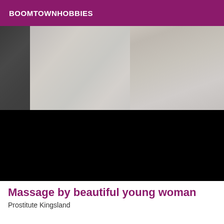BOOMTOWNHOBBIES
[Figure (photo): Cropped black and white photograph showing lower torso area in tight clothing, partially redacted with black rectangle]
Massage by beautiful young woman
Prostitute Kingsland